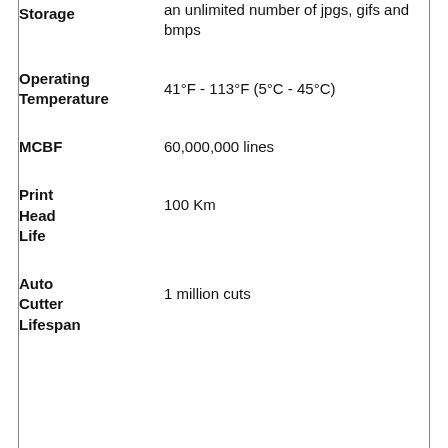| Specification | Value |
| --- | --- |
| Storage | an unlimited number of jpgs, gifs and bmps |
| Operating Temperature | 41°F - 113°F (5°C - 45°C) |
| MCBF | 60,000,000 lines |
| Print Head Life | 100 Km |
| Auto Cutter Lifespan | 1 million cuts |